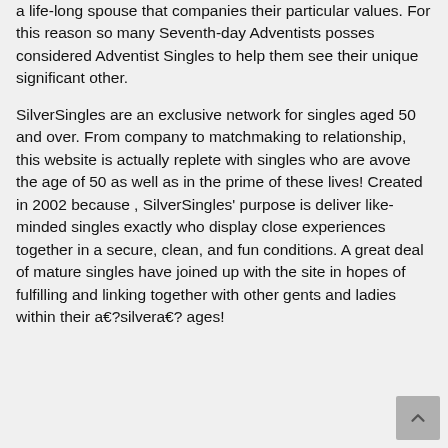a life-long spouse that companies their particular values. For this reason so many Seventh-day Adventists posses considered Adventist Singles to help them see their unique significant other.
SilverSingles are an exclusive network for singles aged 50 and over. From company to matchmaking to relationship, this website is actually replete with singles who are avove the age of 50 as well as in the prime of these lives! Created in 2002 because , SilverSingles' purpose is deliver like-minded singles exactly who display close experiences together in a secure, clean, and fun conditions. A great deal of mature singles have joined up with the site in hopes of fulfilling and linking together with other gents and ladies within their a€?silvera€? ages!